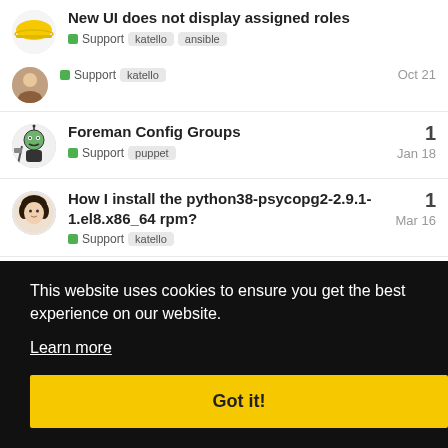New UI does not display assigned roles
Support | katello | ansible | Oct 21
Foreman Config Groups
Support | puppet | 1 | Jan 18
How I install the python38-psycopg2-2.9.1-1.el8.x86_64 rpm?
Support | katello | 1 | Mar 16
2 | Jul 20
6 | Mar 23
This website uses cookies to ensure you get the best experience on our website. Learn more Got it!